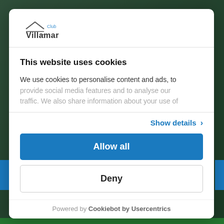[Figure (logo): Club Villamar logo with roof/house icon above text]
This website uses cookies
We use cookies to personalise content and ads, to provide social media features and to analyse our traffic. We also share information about your use of
Show details ›
Allow all
Deny
Powered by Cookiebot by Usercentrics